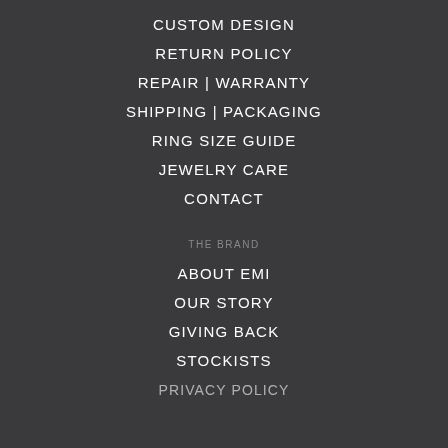CUSTOM DESIGN
RETURN POLICY
REPAIR | WARRANTY
SHIPPING | PACKAGING
RING SIZE GUIDE
JEWELRY CARE
CONTACT
THE BRAND
ABOUT EMI
OUR STORY
GIVING BACK
STOCKISTS
PRIVACY POLICY